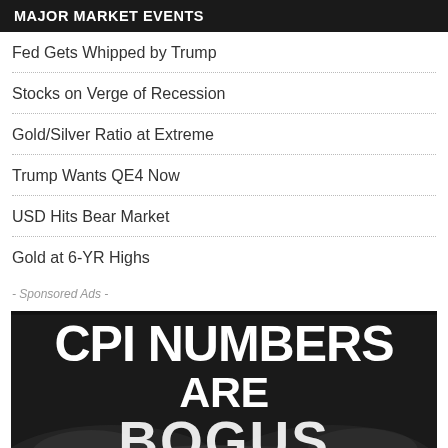MAJOR MARKET EVENTS
Fed Gets Whipped by Trump
Stocks on Verge of Recession
Gold/Silver Ratio at Extreme
Trump Wants QE4 Now
USD Hits Bear Market
Gold at 6-YR Highs
- Sponsored Ads -
[Figure (photo): Dark promotional image with bold white text reading 'CPI NUMBERS ARE BOGUS' with smoke or fire visual effects in background]